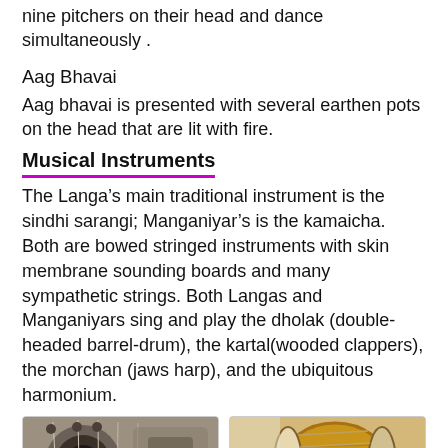nine pitchers on their head and dance simultaneously .
Aag Bhavai
Aag bhavai is presented with several earthen pots on the head that are lit with fire.
Musical Instruments
The Langa’s main traditional instrument is the sindhi sarangi; Manganiyar’s is the kamaicha. Both are bowed stringed instruments with skin membrane sounding boards and many sympathetic strings. Both Langas and Manganiyars sing and play the dholak (double-headed barrel-drum), the kartal(wooded clappers), the morchan (jaws harp), and the ubiquitous harmonium.
[Figure (photo): Close-up photo of a stringed instrument (appears to be a sindhi sarangi or similar bowed instrument)]
[Figure (photo): Photo of a dholak (double-headed barrel drum) with rope tensioning]